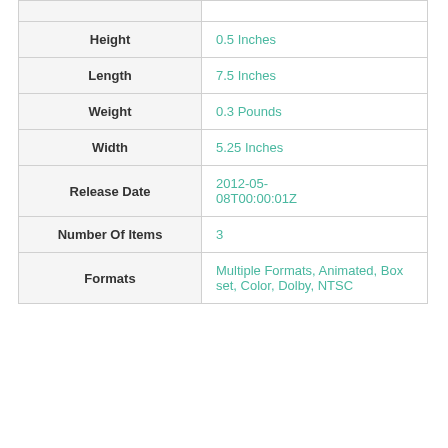| Attribute | Value |
| --- | --- |
| Height | 0.5 Inches |
| Length | 7.5 Inches |
| Weight | 0.3 Pounds |
| Width | 5.25 Inches |
| Release Date | 2012-05-08T00:00:01Z |
| Number Of Items | 3 |
| Formats | Multiple Formats, Animated, Box set, Color, Dolby, NTSC |